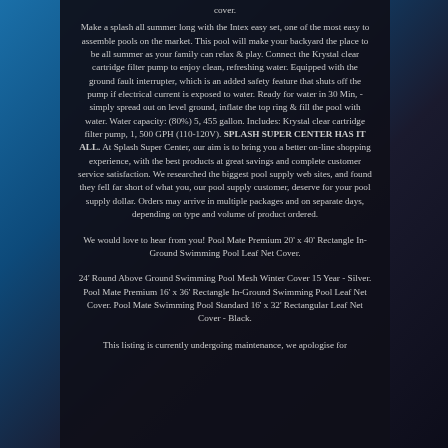cover.
Make a splash all summer long with the Intex easy set, one of the most easy to assemble pools on the market. This pool will make your backyard the place to be all summer as your family can relax & play. Connect the Krystal clear cartridge filter pump to enjoy clean, refreshing water. Equipped with the ground fault interrupter, which is an added safety feature that shuts off the pump if electrical current is exposed to water. Ready for water in 30 Min, - simply spread out on level ground, inflate the top ring & fill the pool with water. Water capacity: (80%) 5, 455 gallon. Includes: Krystal clear cartridge filter pump, 1, 500 GPH (110-120V). SPLASH SUPER CENTER HAS IT ALL. At Splash Super Center, our aim is to bring you a better on-line shopping experience, with the best products at great savings and complete customer service satisfaction. We researched the biggest pool supply web sites, and found they fell far short of what you, our pool supply customer, deserve for your pool supply dollar. Orders may arrive in multiple packages and on separate days, depending on type and volume of product ordered.
We would love to hear from you! Pool Mate Premium 20' x 40' Rectangle In-Ground Swimming Pool Leaf Net Cover.
24' Round Above Ground Swimming Pool Mesh Winter Cover 15 Year - Silver. Pool Mate Premium 16' x 36' Rectangle In-Ground Swimming Pool Leaf Net Cover. Pool Mate Swimming Pool Standard 16' x 32' Rectangular Leaf Net Cover - Black.
This listing is currently undergoing maintenance, we apologise for